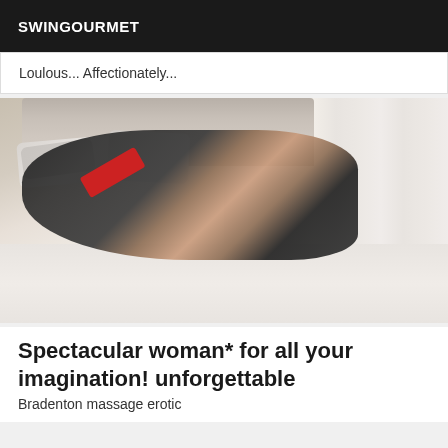SWINGOURMET
Loulous... Affectionately...
[Figure (photo): Woman in black lingerie and red heels posing on a white bed with grey pillows and a tufted headboard in a bright room with white panelled walls.]
Spectacular woman* for all your imagination! unforgettable
Bradenton massage erotic